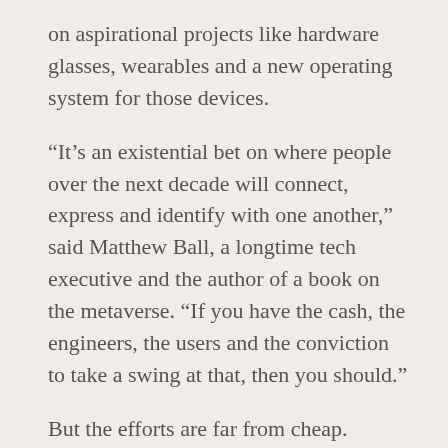on aspirational projects like hardware glasses, wearables and a new operating system for those devices.
“It’s an existential bet on where people over the next decade will connect, express and identify with one another,” said Matthew Ball, a longtime tech executive and the author of a book on the metaverse. “If you have the cash, the engineers, the users and the conviction to take a swing at that, then you should.”
But the efforts are far from cheap. Facebook’s Reality Labs division, which is building augmented and virtual reality products, has dragged down the company’s balance sheet; the hardware unit lost nearly $3 billion in the first quarter alone.
…